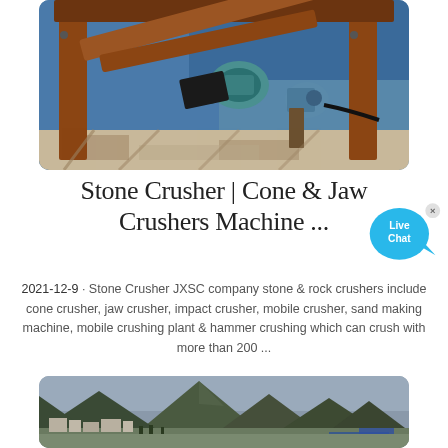[Figure (photo): Close-up photograph of industrial stone crusher machinery with metal components, drive shaft, and motor visible, photographed outdoors with blue tarpaulin background]
Stone Crusher | Cone & Jaw Crushers Machine ...
2021-12-9 · Stone Crusher JXSC company stone & rock crushers include cone crusher, jaw crusher, impact crusher, mobile crusher, sand making machine, mobile crushing plant & hammer crushing which can crush with more than 200 ...
[Figure (photo): Landscape photograph showing mountains in background with industrial mining or crushing plant facilities and buildings in the foreground under an overcast sky]